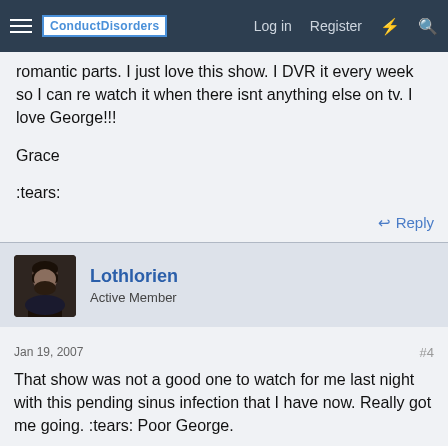ConductDisorders | Log in | Register
romantic parts. I just love this show. I DVR it every week so I can re watch it when there isnt anything else on tv. I love George!!!

Grace

:tears:
Reply
Lothlorien
Active Member
Jan 19, 2007
#4
That show was not a good one to watch for me last night with this pending sinus infection that I have now. Really got me going. :tears: Poor George.